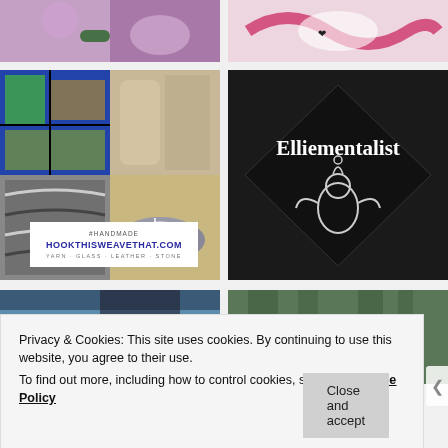[Figure (photo): Top-left: photo of purple crocheted item and hand with dark nail polish]
[Figure (photo): Top-right: photo of black and pink ribbon/logo design]
[Figure (photo): Middle-left collage: stained glass, scarves, crocheted blanket, gray shoes with white laces]
[Figure (logo): Middle-right: Elliementalist logo — black diamond background with white text 'Elliementalist' and a cartoon figure illustration]
[Figure (photo): Bottom-left: closeup of blue and white striped textile and dark knit item]
[Figure (photo): Bottom-right: person wearing blue knit hat outdoors among trees]
Privacy & Cookies: This site uses cookies. By continuing to use this website, you agree to their use.
To find out more, including how to control cookies, see here: Cookie Policy
Close and accept